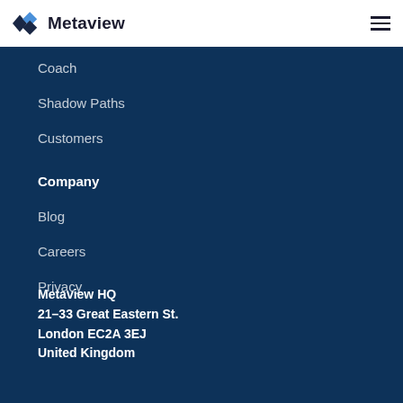Metaview
Coach
Shadow Paths
Customers
Company
Blog
Careers
Privacy
Metaview HQ
21–33 Great Eastern St.
London EC2A 3EJ
United Kingdom